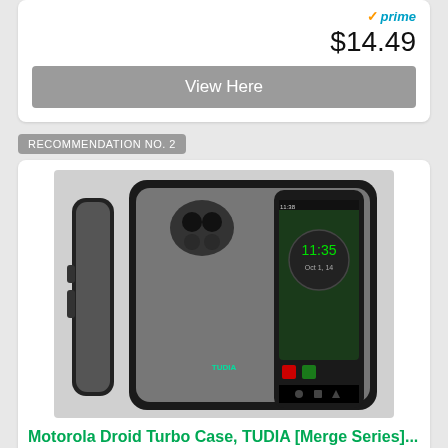[Figure (screenshot): Amazon Prime logo with orange checkmark and blue 'prime' text]
$14.49
View Here
RECOMMENDATION NO. 2
[Figure (photo): Motorola Droid Turbo phone case by TUDIA Merge Series - shows side profile and front view with dark gray protective case]
Motorola Droid Turbo Case, TUDIA [Merge Series]...